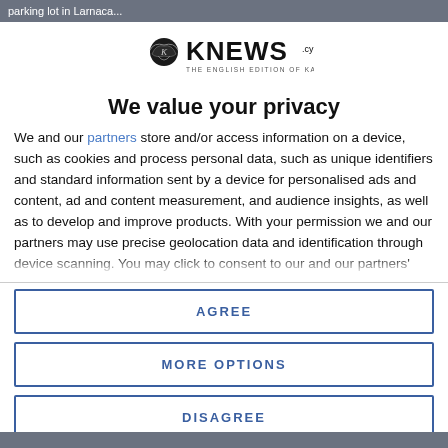parking lot in Larnaca...
[Figure (logo): KNEWS logo - The English Edition of Kathimerini Cyprus]
We value your privacy
We and our partners store and/or access information on a device, such as cookies and process personal data, such as unique identifiers and standard information sent by a device for personalised ads and content, ad and content measurement, and audience insights, as well as to develop and improve products. With your permission we and our partners may use precise geolocation data and identification through device scanning. You may click to consent to our and our partners'
AGREE
MORE OPTIONS
DISAGREE